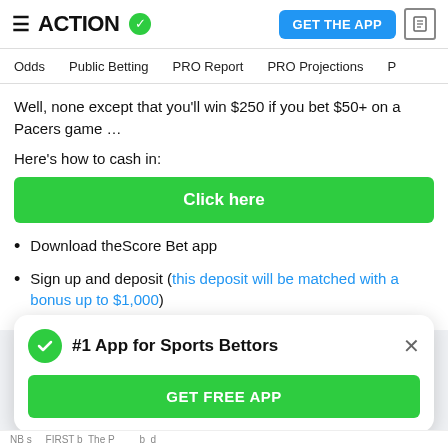ACTION (logo with checkmark) | GET THE APP
Odds | Public Betting | PRO Report | PRO Projections
Well, none except that you’ll win $250 if you bet $50+ on a Pacers game …
Here’s how to cash in:
[Figure (other): Green button labeled 'Click here']
Download theScore Bet app
Sign up and deposit (this deposit will be matched with a bonus up to $1,000)
[Figure (other): Floating card: #1 App for Sports Bettors with GET FREE APP button and close X]
...